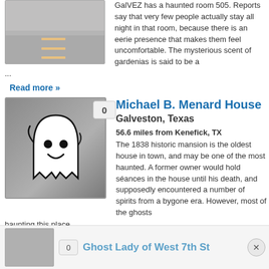[Figure (photo): Road/street photo, overhead view with lane markings]
GalVEZ has a haunted room 505. Reports say that very few people actually stay all night in that room, because there is an eerie presence that makes them feel uncomfortable. The mysterious scent of gardenias is said to be a ...
Read more »
[Figure (illustration): Cartoon ghost illustration — white ghost with smiley face on grey background, count badge showing 0]
Michael B. Menard House
Galveston, Texas
56.6 miles from Kenefick, TX
The 1838 historic mansion is the oldest house in town, and may be one of the most haunted. A former owner would hold séances in the house until his death, and supposedly encountered a number of spirits from a bygone era. However, most of the ghosts haunting this place ...
Read more »
Ghost Lady of West 7th St